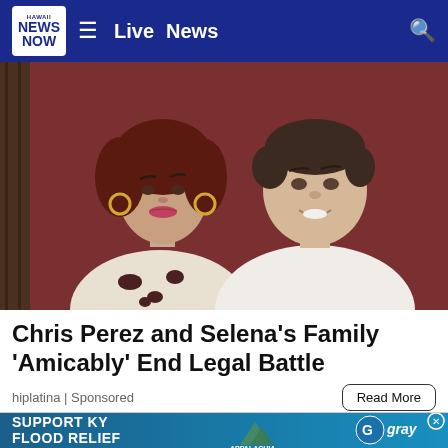Hawaii News Now - Live News
[Figure (photo): Two people posing together for a photo — a woman with dark red hair, hoop earrings and a dalmatian-print outfit on the left, and a young man in a white t-shirt on the right, appearing to be from the early 1990s.]
Chris Perez and Selena's Family 'Amicably' End Legal Battle
hiplatina | Sponsored
Read More
[Figure (infographic): Advertisement banner: SUPPORT KY FLOOD RELIEF with Appalachia Rises and Gray logos.]